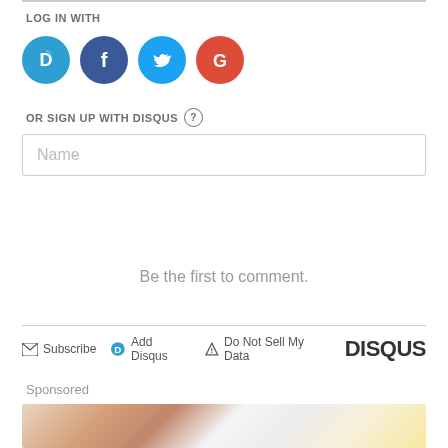LOG IN WITH
[Figure (illustration): Four social login icon circles: Disqus (blue, D), Facebook (dark blue, f), Twitter (light blue, bird), Google (red, G)]
OR SIGN UP WITH DISQUS (?)
Name
Be the first to comment.
Subscribe | Add Disqus | Do Not Sell My Data | DISQUS
Sponsored
[Figure (photo): A food photo showing what appears to be a salmon or fish dish with white sauce and a lemon wedge on the side]